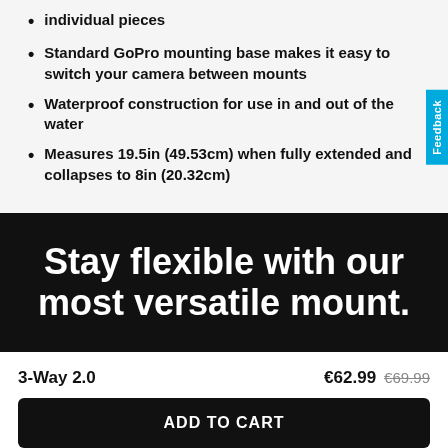individual pieces
Standard GoPro mounting base makes it easy to switch your camera between mounts
Waterproof construction for use in and out of the water
Measures 19.5in (49.53cm) when fully extended and collapses to 8in (20.32cm)
Stay flexible with our most versatile mount.
3-Way 2.0
€62.99 €69.99
ADD TO CART